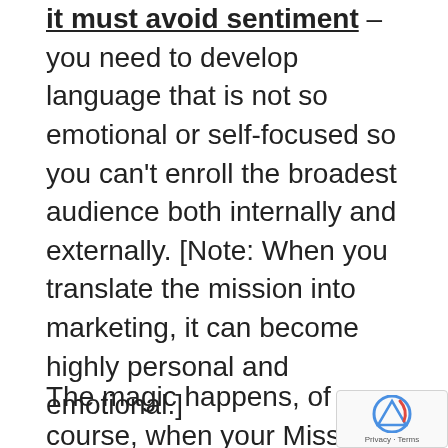it must avoid sentiment – you need to develop language that is not so emotional or self-focused so you can't enroll the broadest audience both internally and externally. [Note: When you translate the mission into marketing, it can become highly personal and emotional.]
The magic happens, of course, when your Mission resonates so deeply with so many people that sales naturally follow. Consumers so thoroughly buy-in that they will stick with your brand over all others, no matter what. That's Beloved & Dominant. (And that's what we do!)
Organizations often write mission statements so they can check that box on the “what companies do” list. But there’s no there there.